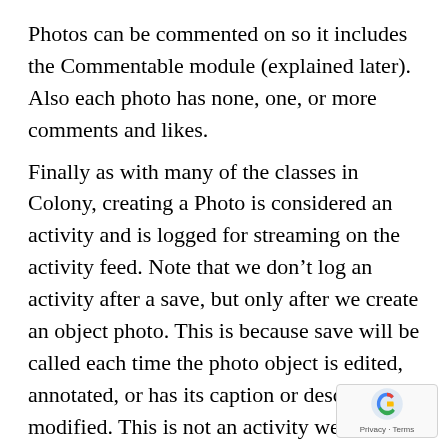Photos can be commented on so it includes the Commentable module (explained later). Also each photo has none, one, or more comments and likes.
Finally as with many of the classes in Colony, creating a Photo is considered an activity and is logged for streaming on the activity feed. Note that we don’t log an activity after a save, but only after we create an object photo. This is because save will be called each time the photo object is edited, annotated, or has its caption or description modified. This is not an activity we want to log in to the activity stream.
[code]
class Annotation